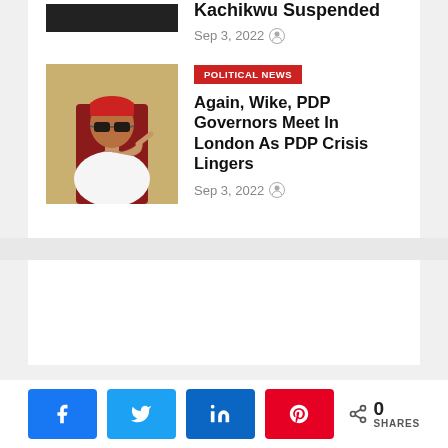[Figure (photo): Black rectangle placeholder image for article thumbnail]
Kachikwu Suspended
Sep 3, 2022
[Figure (photo): Photo of a man wearing a red cap, sunglasses, and white outfit, pointing finger]
POLITICAL NEWS
Again, Wike, PDP Governors Meet In London As PDP Crisis Lingers
Sep 3, 2022
[Figure (other): White advertisement/content placeholder box]
0 SHARES